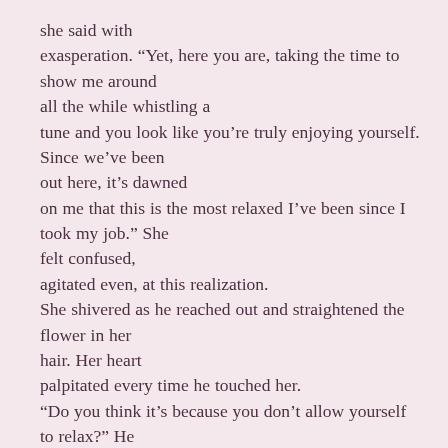she said with exasperation. “Yet, here you are, taking the time to show me around all the while whistling a tune and you look like you’re truly enjoying yourself. Since we’ve been out here, it’s dawned on me that this is the most relaxed I’ve been since I took my job.” She felt confused, agitated even, at this realization. She shivered as he reached out and straightened the flower in her hair. Her heart palpitated every time he touched her. “Do you think it’s because you don’t allow yourself to relax?” He quirked an eyebrow at her. “Do you ever take the time to do something just for the sake of enjoying it?” he asked. Surprised by this, she looked sharply over at him. “No, there’s never any time. I always have a deadline looming. The paperwork is endless. Aren’t you afraid if you take a break that everything will fall to shit?” she asked, consternation